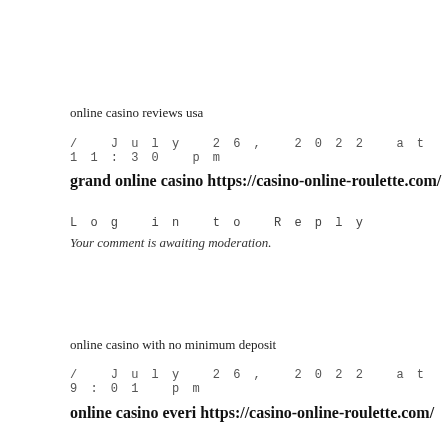online casino reviews usa
/ July 26, 2022 at 11:30 pm
grand online casino https://casino-online-roulette.com/
Log in to Reply
Your comment is awaiting moderation.
online casino with no minimum deposit
/ July 26, 2022 at 9:01 pm
online casino everi https://casino-online-roulette.com/